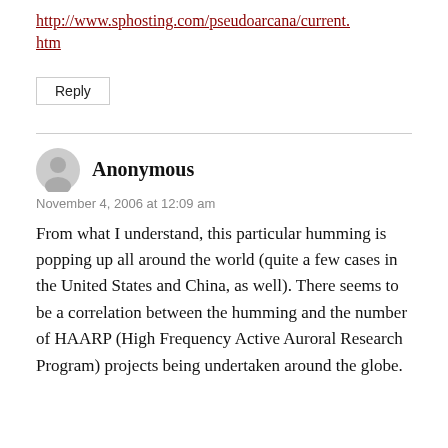http://www.sphosting.com/pseudoarcana/current.htm
Reply
Anonymous
November 4, 2006 at 12:09 am
From what I understand, this particular humming is popping up all around the world (quite a few cases in the United States and China, as well). There seems to be a correlation between the humming and the number of HAARP (High Frequency Active Auroral Research Program) projects being undertaken around the globe.